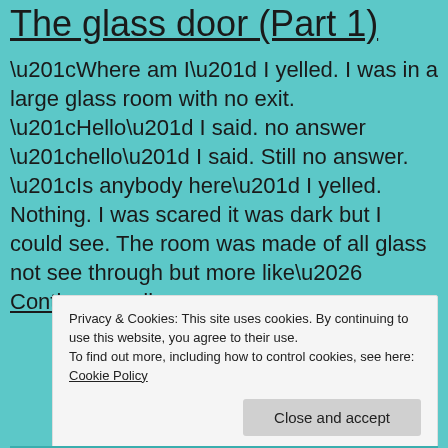The glass door (Part 1)
“Where am I” I yelled. I was in a large glass room with no exit. “Hello” I said. no answer “hello” I said. Still no answer. “Is anybody here” I yelled. Nothing. I was scared it was dark but I could see. The room was made of all glass not see through but more like… Continue reading
Privacy & Cookies: This site uses cookies. By continuing to use this website, you agree to their use.
To find out more, including how to control cookies, see here: Cookie Policy
Close and accept